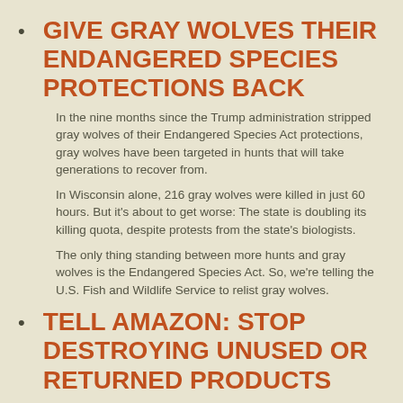GIVE GRAY WOLVES THEIR ENDANGERED SPECIES PROTECTIONS BACK
In the nine months since the Trump administration stripped gray wolves of their Endangered Species Act protections, gray wolves have been targeted in hunts that will take generations to recover from.
In Wisconsin alone, 216 gray wolves were killed in just 60 hours. But it's about to get worse: The state is doubling its killing quota, despite protests from the state's biologists.
The only thing standing between more hunts and gray wolves is the Endangered Species Act. So, we're telling the U.S. Fish and Wildlife Service to relist gray wolves.
TELL AMAZON: STOP DESTROYING UNUSED OR RETURNED PRODUCTS